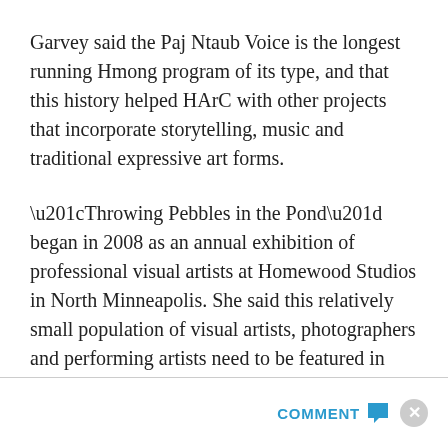Garvey said the Paj Ntaub Voice is the longest running Hmong program of its type, and that this history helped HArC with other projects that incorporate storytelling, music and traditional expressive art forms.
“Throwing Pebbles in the Pond” began in 2008 as an annual exhibition of professional visual artists at Homewood Studios in North Minneapolis. She said this relatively small population of visual artists, photographers and performing artists need to be featured in public spaces to grow and not just create art for the corporate world.
COMMENT